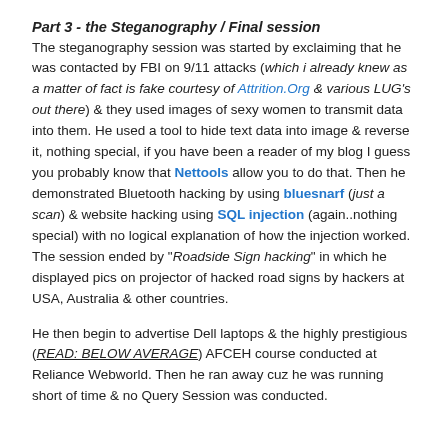Part 3 - the Steganography / Final session
The steganography session was started by exclaiming that he was contacted by FBI on 9/11 attacks (which i already knew as a matter of fact is fake courtesy of Attrition.Org & various LUG's out there) & they used images of sexy women to transmit data into them. He used a tool to hide text data into image & reverse it, nothing special, if you have been a reader of my blog I guess you probably know that Nettools allow you to do that. Then he demonstrated Bluetooth hacking by using bluesnarf (just a scan) & website hacking using SQL injection (again..nothing special) with no logical explanation of how the injection worked. The session ended by "Roadside Sign hacking" in which he displayed pics on projector of hacked road signs by hackers at USA, Australia & other countries.
He then begin to advertise Dell laptops & the highly prestigious (READ: BELOW AVERAGE) AFCEH course conducted at Reliance Webworld. Then he ran away cuz he was running short of time & no Query Session was conducted.